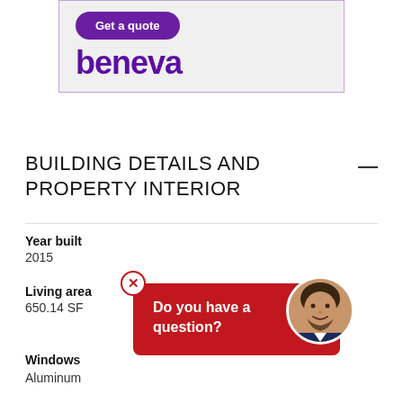[Figure (logo): Beneva insurance advertisement banner with 'Get a quote' button and 'beneva' logo in purple]
BUILDING DETAILS AND PROPERTY INTERIOR
Year built
2015
Living area
650.14 SF
Windows
Aluminum
[Figure (illustration): Red chat popup with X close button saying 'Do you have a question?' with a photo of a smiling man]